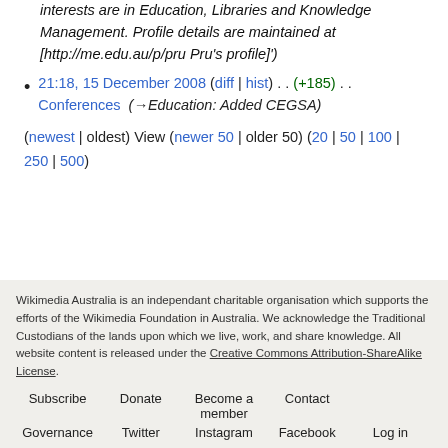interests are in Education, Libraries and Knowledge Management. Profile details are maintained at [http://me.edu.au/p/pru Pru's profile]')
21:18, 15 December 2008 (diff | hist) . . (+185) . . Conferences (→Education: Added CEGSA)
(newest | oldest) View (newer 50 | older 50) (20 | 50 | 100 | 250 | 500)
Wikimedia Australia is an independant charitable organisation which supports the efforts of the Wikimedia Foundation in Australia. We acknowledge the Traditional Custodians of the lands upon which we live, work, and share knowledge. All website content is released under the Creative Commons Attribution-ShareAlike License.
Subscribe | Donate | Become a member | Contact | Governance | Twitter | Instagram | Facebook | Log in